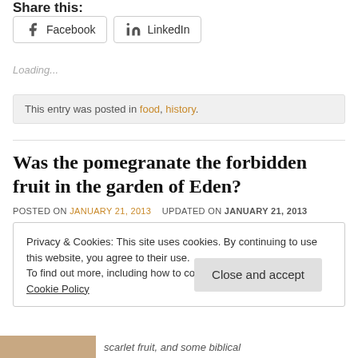Share this:
Facebook  LinkedIn
Loading...
This entry was posted in food, history.
Was the pomegranate the forbidden fruit in the garden of Eden?
POSTED ON JANUARY 21, 2013   UPDATED ON JANUARY 21, 2013
Privacy & Cookies: This site uses cookies. By continuing to use this website, you agree to their use.
To find out more, including how to control cookies, see here: Cookie Policy
Close and accept
scarlet fruit, and some biblical